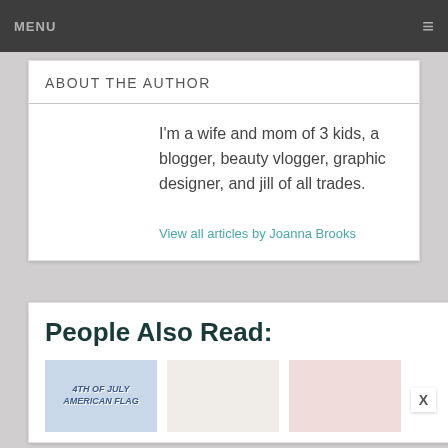MENU
ABOUT THE AUTHOR
I'm a wife and mom of 3 kids, a blogger, beauty vlogger, graphic designer, and jill of all trades.
View all articles by Joanna Brooks
People Also Read:
[Figure (photo): Thumbnail image with text '4TH OF JULY AMERICAN FLAG']
[Figure (photo): Food photo thumbnail]
[Figure (photo): Pink/red food or object photo thumbnail]